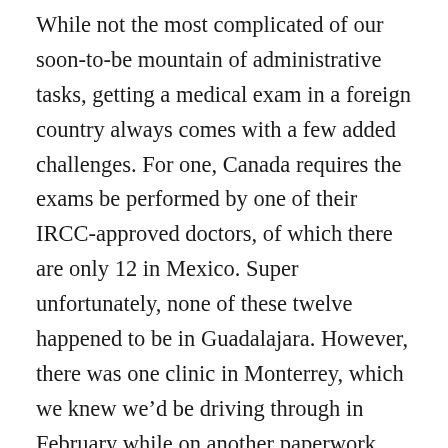While not the most complicated of our soon-to-be mountain of administrative tasks, getting a medical exam in a foreign country always comes with a few added challenges. For one, Canada requires the exams be performed by one of their IRCC-approved doctors, of which there are only 12 in Mexico. Super unfortunately, none of these twelve happened to be in Guadalajara. However, there was one clinic in Monterrey, which we knew we’d be driving through in February while on another paperwork errand. The next (and probably somewhat obvious) issue with medical exams abroad is the language barrier. I had to call and make our appointments in Spanish and, of course, all the background questions and instructions throughout the exam were also en español. I learned quite a few words about this exam (for results, requisites,